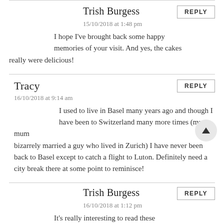Trish Burgess
15/10/2018 at 1:48 pm
I hope I've brought back some happy memories of your visit. And yes, the cakes really were delicious!
Tracy
16/10/2018 at 9:14 am
I used to live in Basel many years ago and though I have been to Switzerland many more times (my mum bizarrely married a guy who lived in Zurich) I have never been back to Basel except to catch a flight to Luton. Definitely need a city break there at some point to reminisce!
Trish Burgess
16/10/2018 at 1:12 pm
It's really interesting to read these comments and discover people's links to Basel. What a wonderful place to live and visit. I think